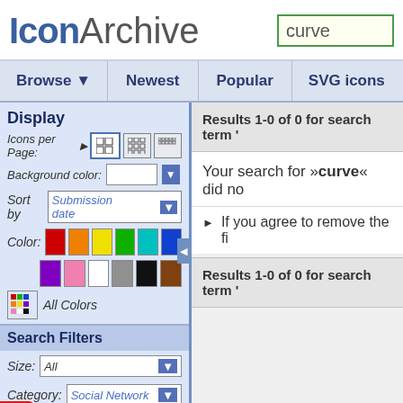IconArchive — search box with 'curve'
Browse ▼   Newest   Popular   SVG icons
Display
Icons per Page: [grid icons]
Background color: [white box] [dropdown]
Sort by Submission date [dropdown]
Color: [red] [orange] [yellow] [green] [cyan] [blue] [purple] [pink] [white] [gray] [black] [brown]
All Colors
Search Filters
Size: All [dropdown]
Category: Social Network [dropdown]
e: All [dropdown]
Results 1-0 of 0 for search term '...
Your search for »curve« did no...
If you agree to remove the fi...
Results 1-0 of 0 for search term '...